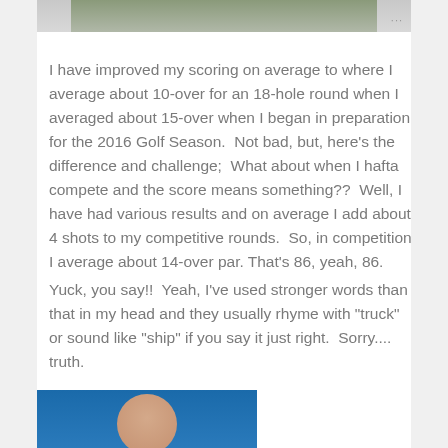[Figure (photo): Top portion of an outdoor photo, appearing to show figures outdoors with trees in background, only bottom strip visible]
I have improved my scoring on average to where I average about 10-over for an 18-hole round when I averaged about 15-over when I began in preparation for the 2016 Golf Season.  Not bad, but, here's the difference and challenge;  What about when I hafta compete and the score means something??  Well, I have had various results and on average I add about 4 shots to my competitive rounds.  So, in competition I average about 14-over par. That's 86, yeah, 86.
Yuck, you say!!  Yeah, I've used stronger words than that in my head and they usually rhyme with "truck" or sound like "ship" if you say it just right.  Sorry.... truth.
[Figure (photo): Bottom portion of page showing a bald man against a blue sky background, only top of head and face visible]